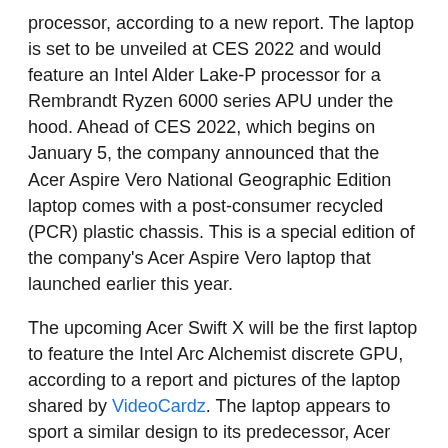processor, according to a new report. The laptop is set to be unveiled at CES 2022 and would feature an Intel Alder Lake-P processor for a Rembrandt Ryzen 6000 series APU under the hood. Ahead of CES 2022, which begins on January 5, the company announced that the Acer Aspire Vero National Geographic Edition laptop comes with a post-consumer recycled (PCR) plastic chassis. This is a special edition of the company's Acer Aspire Vero laptop that launched earlier this year.
The upcoming Acer Swift X will be the first laptop to feature the Intel Arc Alchemist discrete GPU, according to a report and pictures of the laptop shared by VideoCardz. The laptop appears to sport a similar design to its predecessor, Acer Swift X. Readers may recall that Acer Swift X launched with an 11th Gen Intel Core Tiger Lake-H35 processor or an AMD processor. Ryzen 5000U, paired with an RTX 3050 Ti GPU. . The company has yet to officially announce details of a successor to the 2021 Acer Swift X laptop.